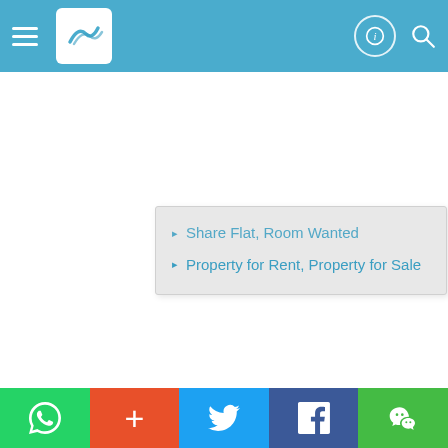[Figure (screenshot): Mobile app top navigation bar with hamburger menu, logo, phone icon, and search icon on blue background]
Share Flat, Room Wanted
Property for Rent, Property for Sale
[Figure (screenshot): Bottom social sharing bar with WhatsApp (green), plus/add (orange-red), Twitter (blue), Facebook (dark blue), WeChat (green) buttons]